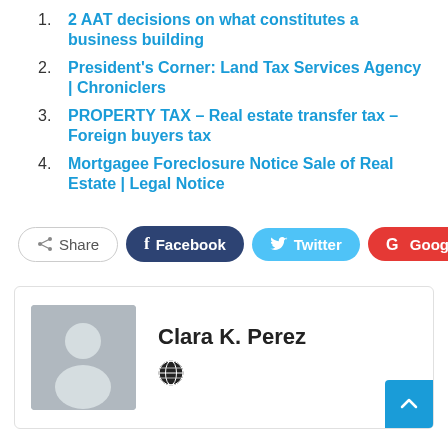2 AAT decisions on what constitutes a business building
President's Corner: Land Tax Services Agency | Chroniclers
PROPERTY TAX – Real estate transfer tax – Foreign buyers tax
Mortgagee Foreclosure Notice Sale of Real Estate | Legal Notice
Share | Facebook | Twitter | Google+ | +
Clara K. Perez